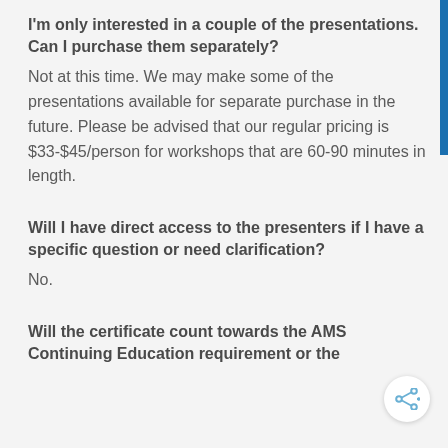I'm only interested in a couple of the presentations. Can I purchase them separately?
Not at this time.  We may make some of the presentations available for separate purchase in the future.  Please be advised that our regular pricing is $33-$45/person for workshops that are 60-90 minutes in length.
Will I have direct access to the presenters if I have a specific question or need clarification?
No.
Will the certificate count towards the AMS Continuing Education requirement or the